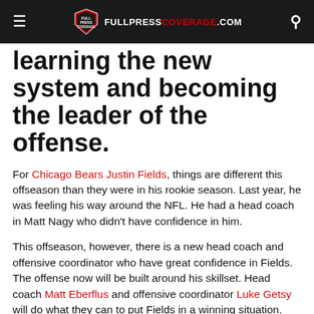FULLPRESS COVERAGE.COM
learning the new system and becoming the leader of the offense.
For Chicago Bears Justin Fields, things are different this offseason than they were in his rookie season. Last year, he was feeling his way around the NFL. He had a head coach in Matt Nagy who didn't have confidence in him.
This offseason, however, there is a new head coach and offensive coordinator who have great confidence in Fields. The offense now will be built around his skillset. Head coach Matt Eberflus and offensive coordinator Luke Getsy will do what they can to put Fields in a winning situation.
With OTA's going on, Fields has shown some of his skills